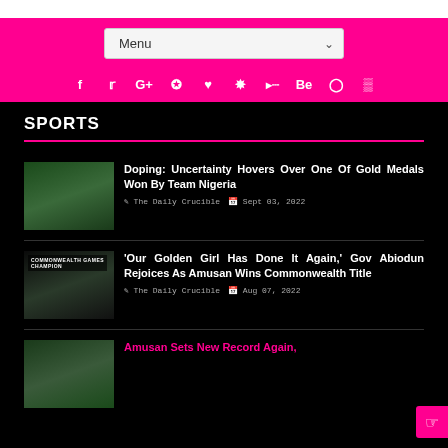Menu [dropdown] — social icons: f, twitter, G+, pinterest, heart, dribbble, rss, Behance, instagram, share
SPORTS
Doping: Uncertainty Hovers Over One Of Gold Medals Won By Team Nigeria — The Daily Crucible — Sept 03, 2022
'Our Golden Girl Has Done It Again,' Gov Abiodun Rejoices As Amusan Wins Commonwealth Title — The Daily Crucible — Aug 07, 2022
Amusan Sets New Record Again,